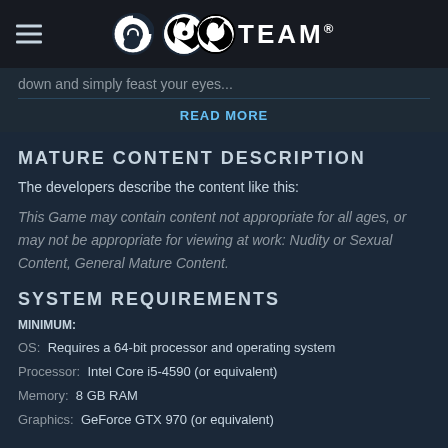STEAM
down and simply feast your eyes...
READ MORE
MATURE CONTENT DESCRIPTION
The developers describe the content like this:
This Game may contain content not appropriate for all ages, or may not be appropriate for viewing at work: Nudity or Sexual Content, General Mature Content.
SYSTEM REQUIREMENTS
MINIMUM:
OS:  Requires a 64-bit processor and operating system
Processor:  Intel Core i5-4590 (or equivalent)
Memory:  8 GB RAM
Graphics:  GeForce GTX 970 (or equivalent)